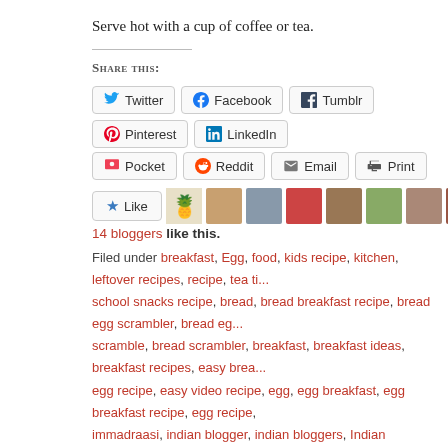Serve hot with a cup of coffee or tea.
Share this:
Twitter, Facebook, Tumblr, Pinterest, LinkedIn, Pocket, Reddit, Email, Print
14 bloggers like this.
Filed under breakfast, Egg, food, kids recipe, kitchen, leftover recipes, recipe, tea time, school snacks recipe, bread, bread breakfast recipe, bread egg scrambler, bread egg scramble, bread scrambler, breakfast, breakfast ideas, breakfast recipes, easy breakfast, egg recipe, easy video recipe, egg, egg breakfast, egg breakfast recipe, egg recipe, immadraasi, indian blogger, indian bloggers, Indian breakfast, Indian breakfast recipe, indian food blog, indian food blogger, Indian recipe, Indian street food recipe, indiblogger recipe, kothu roti seimurai, leftover bread slices, likes, madraasi, nastha, nastha recipe, recipe, quick and easy breakfast ideas, quickand easy breakfast recipe, recipe, recipe leftover bread slices, samayal samayal, scramble bread, scramble bread egg, scramble bread video recipe, scramble bread with video, simple breakfast, simple breakfast recipes, simple video recipe, south Indian breakfast, south indian breakfast recipe, south Indian food blogger, south Indianbreakfast recipe, street food, tamil, tamil breakfast